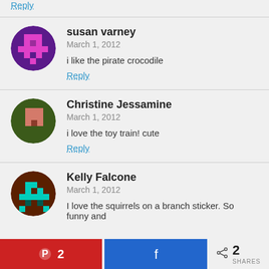Reply
susan varney
March 1, 2012
i like the pirate crocodile
Reply
Christine Jessamine
March 1, 2012
i love the toy train! cute
Reply
Kelly Falcone
March 1, 2012
I love the squirrels on a branch sticker. So funny and
2  [Pinterest]   [Facebook]   < 2 SHARES